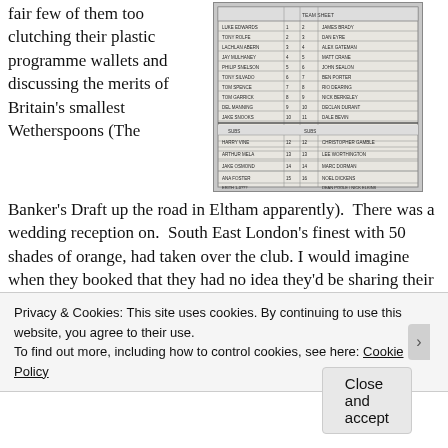fair few of them too clutching their plastic programme wallets and discussing the merits of Britain's smallest Wetherspoons (The Banker's Draft up the road in Eltham apparently).  There was a wedding reception on.  South East London's finest with 50 shades of orange, had taken over the club. I would imagine when they booked that they had no idea they'd be sharing their big days with a bunch of Dockers of Erith and Christians from Horsham. However, with a decent crowd for
[Figure (photo): A handwritten or printed football team sheet/programme showing player names and numbers in a table format]
Privacy & Cookies: This site uses cookies. By continuing to use this website, you agree to their use.
To find out more, including how to control cookies, see here: Cookie Policy